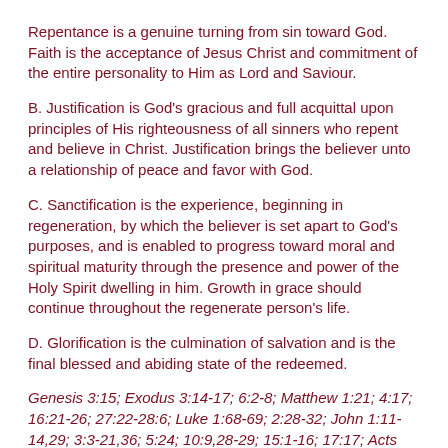Repentance is a genuine turning from sin toward God. Faith is the acceptance of Jesus Christ and commitment of the entire personality to Him as Lord and Saviour.
B. Justification is God's gracious and full acquittal upon principles of His righteousness of all sinners who repent and believe in Christ. Justification brings the believer unto a relationship of peace and favor with God.
C. Sanctification is the experience, beginning in regeneration, by which the believer is set apart to God's purposes, and is enabled to progress toward moral and spiritual maturity through the presence and power of the Holy Spirit dwelling in him. Growth in grace should continue throughout the regenerate person's life.
D. Glorification is the culmination of salvation and is the final blessed and abiding state of the redeemed.
Genesis 3:15; Exodus 3:14-17; 6:2-8; Matthew 1:21; 4:17; 16:21-26; 27:22-28:6; Luke 1:68-69; 2:28-32; John 1:11-14,29; 3:3-21,36; 5:24; 10:9,28-29; 15:1-16; 17:17; Acts 2:21; 4:12; 15:11; 16:30-31; 17:30-31; 20:32; Romans 1:16-18; 2:4; 3:23-25; 4:3ff.; 5:8-10; 6:1-23; 8:1-18,29-39; 10:9-10,13; 13:11-